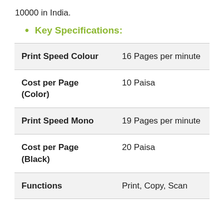10000 in India.
Key Specifications:
| Specification | Value |
| --- | --- |
| Print Speed Colour | 16 Pages per minute |
| Cost per Page (Color) | 10 Paisa |
| Print Speed Mono | 19 Pages per minute |
| Cost per Page (Black) | 20 Paisa |
| Functions | Print, Copy, Scan |